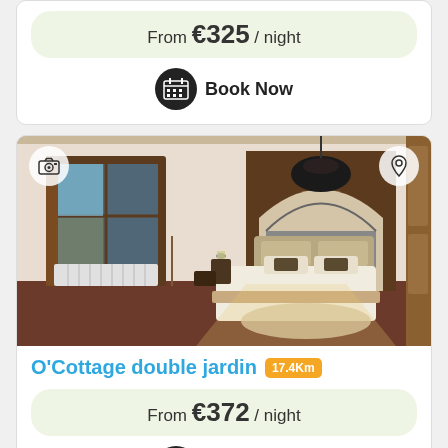From €325 / night
Book Now
[Figure (photo): Interior bedroom photo of O'Cottage double jardin showing a bed with white linen, wooden arch doorway, window with shutters, white radiator, and dark hanging light fixture]
O'Cottage double jardin 17.4Km
From €372 / night
Book Now